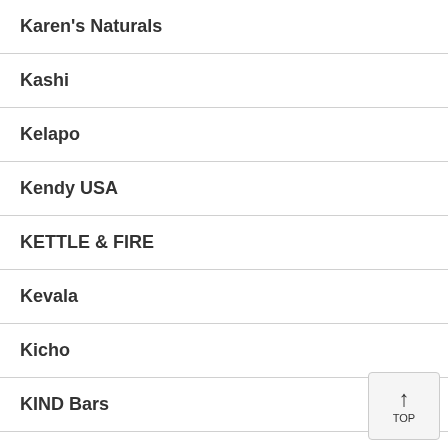Karen's Naturals
Kashi
Kelapo
Kendy USA
KETTLE & FIRE
Kevala
Kicho
KIND Bars